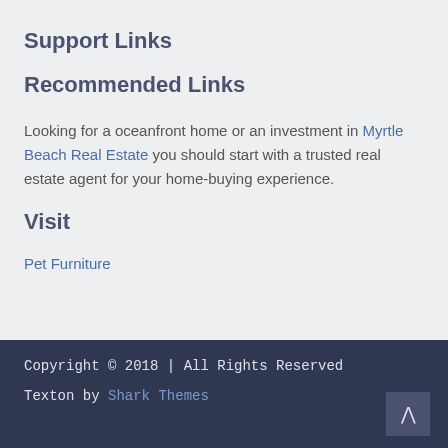Support Links
Recommended Links
Looking for a oceanfront home or an investment in Myrtle Beach Real Estate you should start with a trusted real estate agent for your home-buying experience.
Visit
Pet Furniture
Copyright © 2018 | All Rights Reserved
Texton by Shark Themes